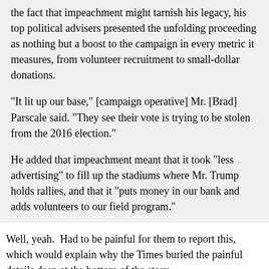the fact that impeachment might tarnish his legacy, his top political advisers presented the unfolding proceeding as nothing but a boost to the campaign in every metric it measures, from volunteer recruitment to small-dollar donations.
"It lit up our base," [campaign operative] Mr. [Brad] Parscale said. "They see their vote is trying to be stolen from the 2016 election."
He added that impeachment meant that it took "less advertising" to fill up the stadiums where Mr. Trump holds rallies, and that it "puts money in our bank and adds volunteers to our field program."
Well, yeah.  Had to be painful for them to report this, which would explain why the Times buried the painful details deep at the bottom of the story.
And yet, there were lines falling away from the left...